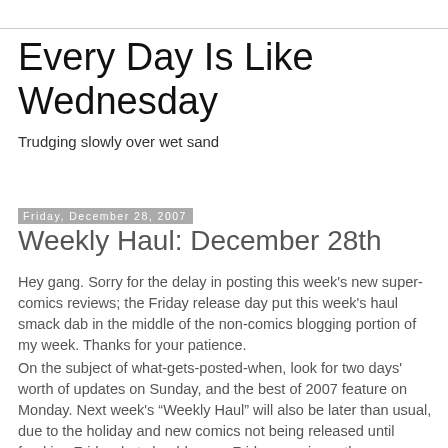Every Day Is Like Wednesday
Trudging slowly over wet sand
Friday, December 28, 2007
Weekly Haul: December 28th
Hey gang. Sorry for the delay in posting this week's new super-comics reviews; the Friday release day put this week's haul smack dab in the middle of the non-comics blogging portion of my week. Thanks for your patience.
On the subject of what-gets-posted-when, look for two days' worth of updates on Sunday, and the best of 2007 feature on Monday. Next week's “Weekly Haul” will also be later than usual, due to the holiday and new comics not being released until freaking Friday, but should go up Friday evening rather